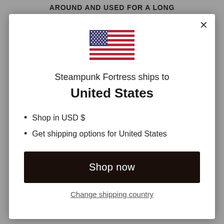AROUND AND USED FOR A LONG
[Figure (illustration): United States flag icon]
Steampunk Fortress ships to
United States
Shop in USD $
Get shipping options for United States
Shop now
Change shipping country